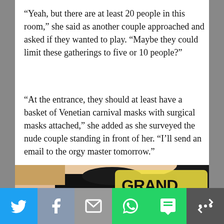“Yeah, but there are at least 20 people in this room,” she said as another couple approached and asked if they wanted to play. “Maybe they could limit these gatherings to five or 10 people?”
“At the entrance, they should at least have a basket of Venetian carnival masks with surgical masks attached,” she added as she surveyed the nude couple standing in front of her. “I’ll send an email to the orgy master tomorrow.”
[Figure (photo): Advertisement image showing a person wearing a black t-shirt with a rubber duck wearing a captain hat, next to text reading GRAND DUCKY T-SHIRTS]
Social share bar with Twitter, Facebook, Email, WhatsApp, SMS, and More buttons